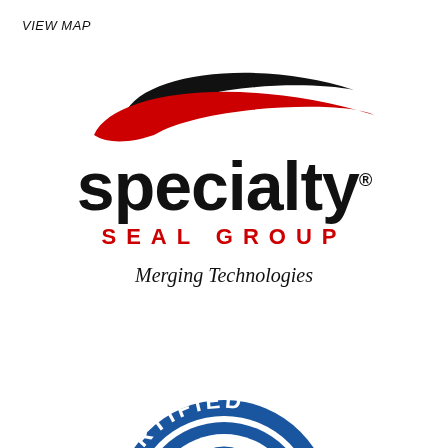VIEW MAP
[Figure (logo): Specialty Seal Group logo with swoosh graphic in black and red, company name 'specialty' in large bold black lowercase text, 'SEAL GROUP' in spaced red capital letters, and tagline 'Merging Technologies' in italic text below]
[Figure (logo): ISO Certified badge/seal in blue and white, partially visible at bottom of page, showing 'CERTIFIED' text in arc at top and a globe graphic in the center]